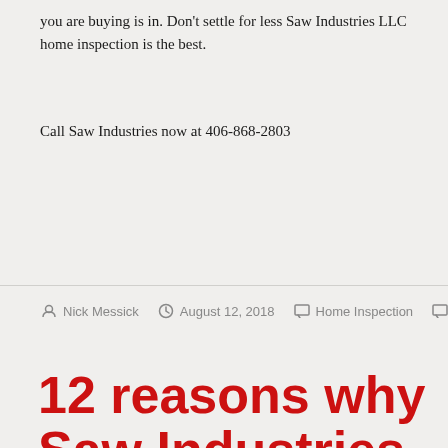you are buying is in. Don't settle for less Saw Industries LLC home inspection is the best.
Call Saw Industries now at 406-868-2803
Nick Messick  August 12, 2018  Home Inspection  Leave a comment
12 reasons why Saw Industries is your first choice for an inspector